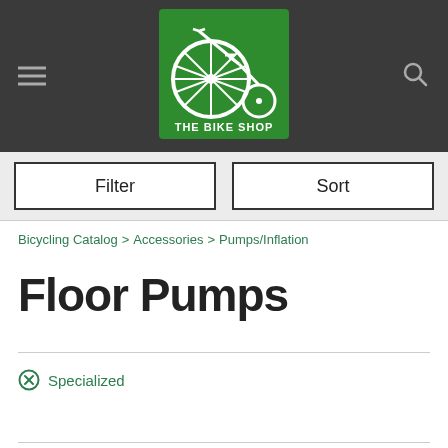[Figure (logo): The Bike Shop logo — green square with a penny-farthing bicycle and text 'THE BIKE SHOP' on a dark header bar]
Filter
Sort
Bicycling Catalog > Accessories > Pumps/Inflation
Floor Pumps
⊗ Specialized